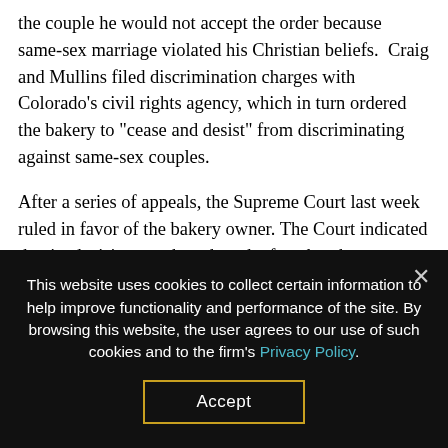the couple he would not accept the order because same-sex marriage violated his Christian beliefs.  Craig and Mullins filed discrimination charges with Colorado's civil rights agency, which in turn ordered the bakery to "cease and desist" from discriminating against same-sex couples.

After a series of appeals, the Supreme Court last week ruled in favor of the bakery owner. The Court indicated that its decision was based on the fact that the Colorado Civil Rights Commission had displayed hostility toward the bakery owner's religious beliefs
This website uses cookies to collect certain information to help improve functionality and performance of the site. By browsing this website, the user agrees to our use of such cookies and to the firm's Privacy Policy.
Accept